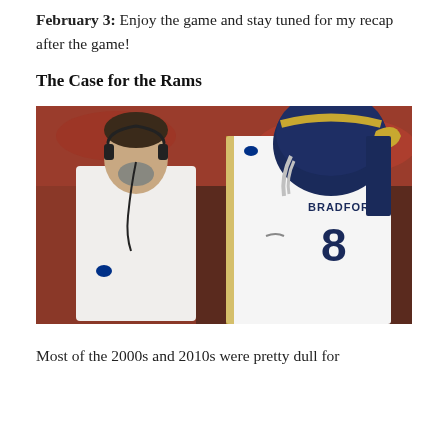February 3: Enjoy the game and stay tuned for my recap after the game!
The Case for the Rams
[Figure (photo): A football coach wearing headphones stands next to a player wearing a white Rams jersey with number 8 and the name BRADFORD on the back, wearing a blue and gold Rams helmet. The background shows a red and white stadium setting.]
Most of the 2000s and 2010s were pretty dull for